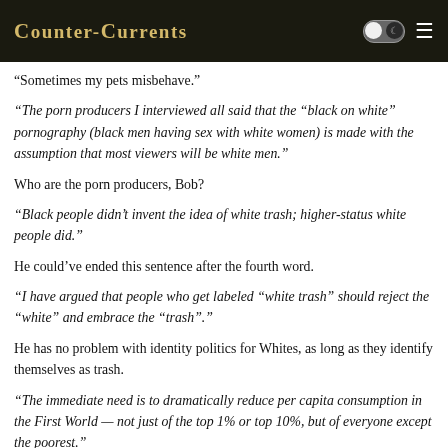Counter-Currents
“Sometimes my pets misbehave.”
“The porn producers I interviewed all said that the “black on white” pornography (black men having sex with white women) is made with the assumption that most viewers will be white men.”
Who are the porn producers, Bob?
“Black people didn’t invent the idea of white trash; higher-status white people did.”
He could’ve ended this sentence after the fourth word.
“I have argued that people who get labeled “white trash” should reject the “white” and embrace the “trash”.”
He has no problem with identity politics for Whites, as long as they identify themselves as trash.
“The immediate need is to dramatically reduce per capita consumption in the First World — not just of the top 1% or top 10%, but of everyone except the poorest.”
Who are the “poorest”, Bob?
“A sensible and humane policy would be for the United States and